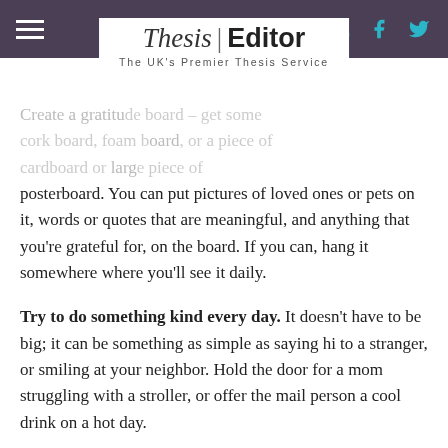Thesis | Editor — The UK's Premier Thesis Service
Create a gratitude board – posterboard. You can put pictures of loved ones or pets on it, words or quotes that are meaningful, and anything that you're grateful for, on the board. If you can, hang it somewhere where you'll see it daily.
Try to do something kind every day. It doesn't have to be big; it can be something as simple as saying hi to a stranger, or smiling at your neighbor. Hold the door for a mom struggling with a stroller, or offer the mail person a cool drink on a hot day.
Spend time with loved ones and friends. Even if you're busy, take an hour – schedule it if you have to – to spend focused, distraction-free time with people you care about and who…